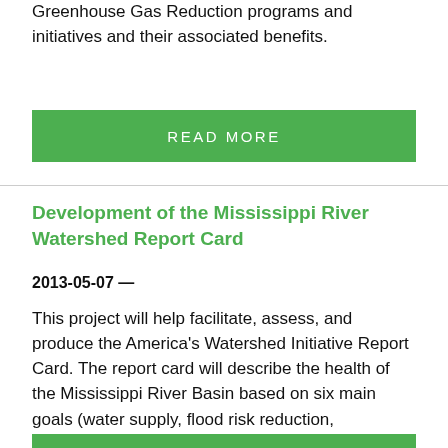Greenhouse Gas Reduction programs and initiatives and their associated benefits.
READ MORE
Development of the Mississippi River Watershed Report Card
2013-05-07 —
This project will help facilitate, assess, and produce the America's Watershed Initiative Report Card. The report card will describe the health of the Mississippi River Basin based on six main goals (water supply, flood risk reduction, economies, ecosystems, recreational, and transportation).